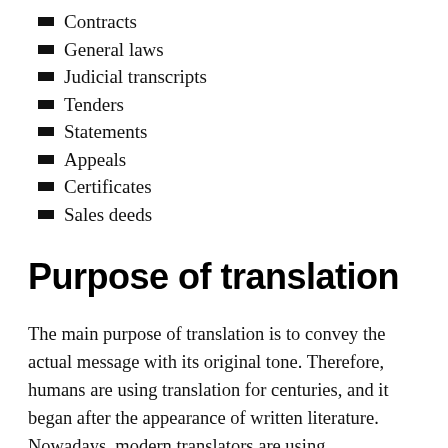Contracts
General laws
Judicial transcripts
Tenders
Statements
Appeals
Certificates
Sales deeds
Purpose of translation
The main purpose of translation is to convey the actual message with its original tone. Therefore, humans are using translation for centuries, and it began after the appearance of written literature. Nowadays, modern translators are using sophisticated technologies and tools for accomplishing their tasks, streamlining and fully relying on software applications for simplifications of